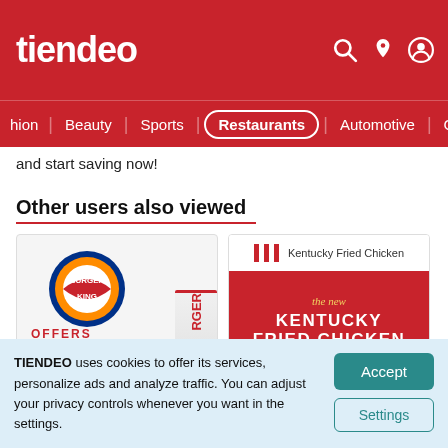tiendeo
hion | Beauty | Sports | Restaurants | Automotive | Crafts | T
and start saving now!
Other users also viewed
[Figure (photo): Burger King promotional card showing the Burger King logo, OFFERS text in red, a cup, and a burger]
[Figure (photo): Kentucky Fried Chicken promotional card showing KFC logo, red background with 'the new KENTUCKY FRIED CHICKEN SANDWICH' text and $3.99 price badge]
TIENDEO uses cookies to offer its services, personalize ads and analyze traffic. You can adjust your privacy controls whenever you want in the settings.